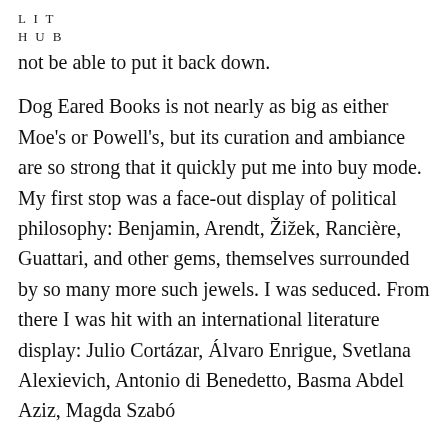L I T
H U B
not be able to put it back down.
Dog Eared Books is not nearly as big as either Moe’s or Powell’s, but its curation and ambiance are so strong that it quickly put me into buy mode. My first stop was a face-out display of political philosophy: Benjamin, Arendt, Žižek, Rancière, Guattari, and other gems, themselves surrounded by so many more such jewels. I was seduced. From there I was hit with an international literature display: Julio Cortázar, Álvaro Enrigue, Svetlana Alexievich, Antonio di Benedetto, Basma Abdel Aziz, Magda Szabó